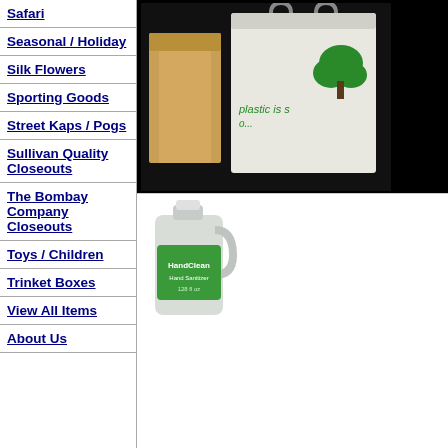Safari
Seasonal / Holiday
Silk Flowers
Sporting Goods
Street Kaps / Pogs
Sullivan Quality Closeouts
The Bombay Company Closeouts
Toys / Children
Trinket Boxes
View All Items
About Us
[Figure (photo): Product photo showing paper bags and a white reusable bag with green tree graphic and text 'plastic is so']
[Figure (photo): Product photo showing a clear plastic gallon jug with green label]